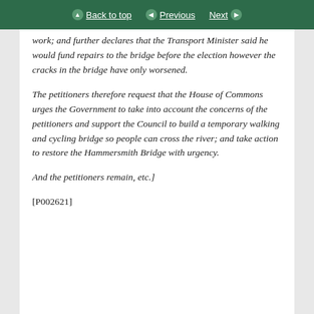Back to top | Previous | Next
work; and further declares that the Transport Minister said he would fund repairs to the bridge before the election however the cracks in the bridge have only worsened.
The petitioners therefore request that the House of Commons urges the Government to take into account the concerns of the petitioners and support the Council to build a temporary walking and cycling bridge so people can cross the river; and take action to restore the Hammersmith Bridge with urgency.
And the petitioners remain, etc.]
[P002621]